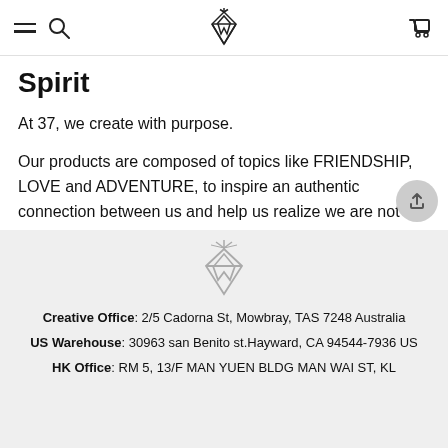Navigation bar with hamburger menu, search icon, brand logo, and cart icon
Spirit
At 37, we create with purpose.
Our products are composed of topics like FRIENDSHIP, LOVE and ADVENTURE, to inspire an authentic connection between us and help us realize we are not alone in our journey.
Creative Office: 2/5 Cadorna St, Mowbray, TAS 7248 Australia
US Warehouse: 30963 san Benito st.Hayward, CA 94544-7936 US
HK Office: RM 5, 13/F MAN YUEN BLDG MAN WAI ST, KL